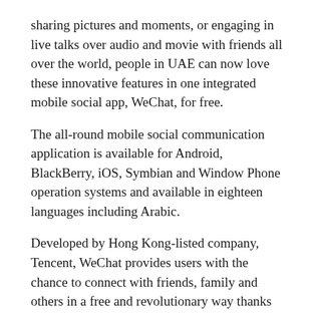sharing pictures and moments, or engaging in live talks over audio and movie with friends all over the world, people in UAE can now love these innovative features in one integrated mobile social app, WeChat, for free.
The all-round mobile social communication application is available for Android, BlackBerry, iOS, Symbian and Window Phone operation systems and available in eighteen languages including Arabic.
Developed by Hong Kong-listed company, Tencent, WeChat provides users with the chance to connect with friends, family and others in a free and revolutionary way thanks to features such as voice talking, texting, movie talk, groupchat, Moments (Social), Look around, Wiggle, and many other creative functions.
It is free and effortless to download, install and use. Users can log in to WeChat with their Facebook accounts